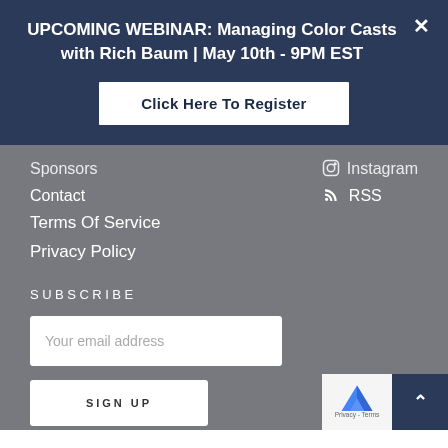UPCOMING WEBINAR: Managing Color Casts with Rich Baum | May 10th - 9PM EST
Click Here To Register
Sponsors
Instagram
Contact
RSS
Terms Of Service
Privacy Policy
SUBSCRIBE
Your email address
SIGN UP